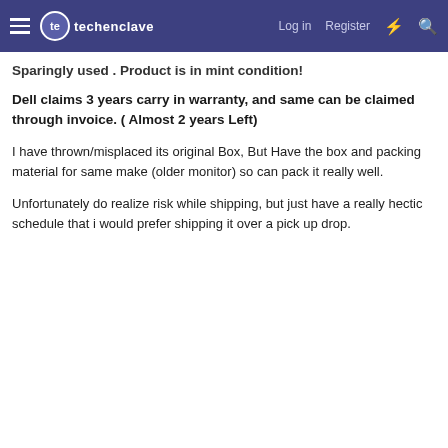techenclave | Log in | Register
Sparingly used . Product is in mint condition!
Dell claims 3 years carry in warranty, and same can be claimed through invoice. ( Almost 2 years Left)
I have thrown/misplaced its original Box, But Have the box and packing material for same make (older monitor) so can pack it really well.
Unfortunately do realize risk while shipping, but just have a really hectic schedule that i would prefer shipping it over a pick up drop.